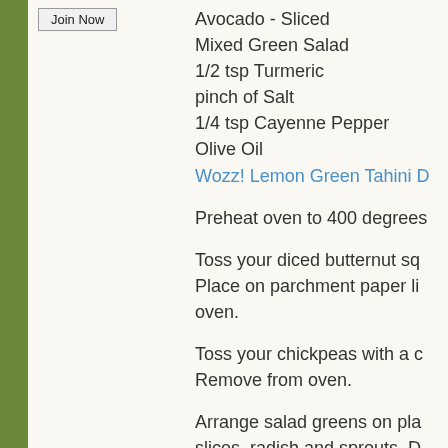[Figure (other): Join Now button in top left area]
Avocado - Sliced
Mixed Green Salad
1/2 tsp Turmeric
pinch of Salt
1/4 tsp Cayenne Pepper
Olive Oil
Wozz! Lemon Green Tahini D…
Preheat oven to 400 degrees…
Toss your diced butternut sq… Place on parchment paper li… oven.
Toss your chickpeas with a c… Remove from oven.
Arrange salad greens on pla… slices, radish and sprouts. D…